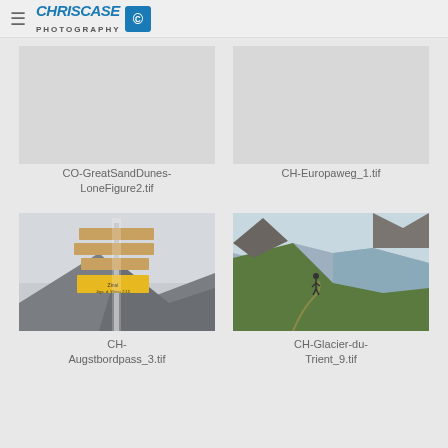ChrisCase Photography logo and navigation
CO-GreatSandDunes-LoneFigure2.tif
CH-Europaweg_1.tif
[Figure (photo): Mountain trail signpost covered in frost/ice with rocky peaks and clouds in background]
CH-Augstbordpass_3.tif
[Figure (photo): Hiker on trail with glaciated mountain peaks and green slopes in background]
CH-Glacier-du-Trient_9.tif